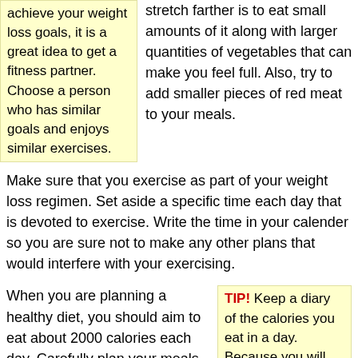achieve your weight loss goals, it is a great idea to get a fitness partner. Choose a person who has similar goals and enjoys similar exercises.
stretch farther is to eat small amounts of it along with larger quantities of vegetables that can make you feel full. Also, try to add smaller pieces of red meat to your meals.
Make sure that you exercise as part of your weight loss regimen. Set aside a specific time each day that is devoted to exercise. Write the time in your calender so you are sure not to make any other plans that would interfere with your exercising.
When you are planning a healthy diet, you should aim to eat about 2000 calories each day. Carefully plan your meals to make sure they contain all the nutrients that you need, from vitamins A to Zinc. If the foods you are eating do not provide these vital nutrients,
TIP! Keep a diary of the calories you eat in a day. Because you will be keeping track of everything you eat, you won't eat as much and you will make healthier